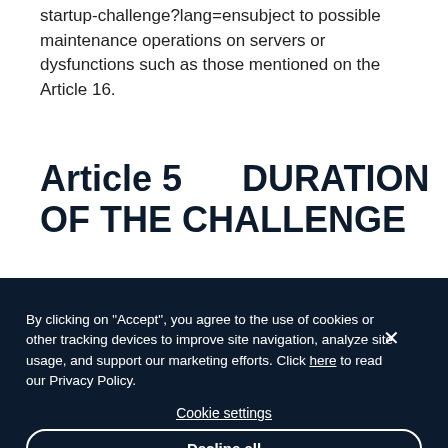startup-challenge?lang=ensubject to possible maintenance operations on servers or dysfunctions such as those mentioned on the Article 16.
Article 5      DURATION OF THE CHALLENGE
By clicking on "Accept", you agree to the use of cookies or other tracking devices to improve site navigation, analyze site usage, and support our marketing efforts. Click here to read our Privacy Policy.

Cookie settings

Decline all

Accept all
CHALLENGE